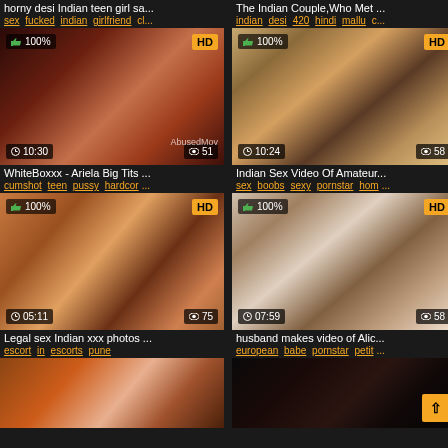[Figure (screenshot): Video thumbnail grid page showing adult video thumbnails with titles, tags, duration, view counts and HD badges]
horny desi Indian teen girl sa...
sex fucked indian girlfriend cl...
The Indian Couple,Who Met ...
indian desi 420 hindi mallu c...
[Figure (screenshot): Video thumbnail 1 with 100% like, HD badge, 10:30 duration, 51 views]
[Figure (screenshot): Video thumbnail 2 with 100% like, HD badge, 10:24 duration, 58 views]
WhiteBoxxx - Ariela Big Tits ...
cumshot teen pussy hardcor...
Indian Sex Video Of Amateur...
sex boobs sexy pornstar hom...
[Figure (screenshot): Video thumbnail 3 with 100% like, HD badge, 05:11 duration, 75 views]
[Figure (screenshot): Video thumbnail 4 with 100% like, HD badge, 07:59 duration, 58 views]
Legal sex Indian xxx photos ...
escort in escorts pune
husband makes video of Alic...
european babe pornstar petit...
[Figure (screenshot): Partial video thumbnail 5 with 100% like and HD badge]
[Figure (screenshot): Partial video thumbnail 6 with 100% like, HD badge and back-to-top button]